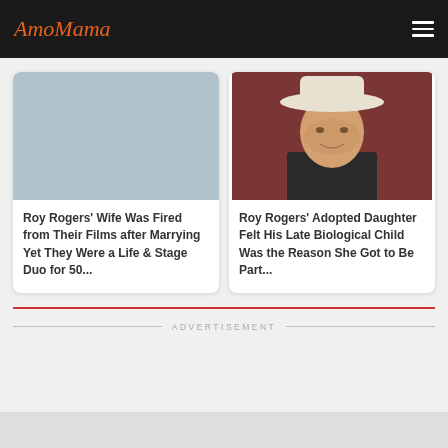AmoMama
[Figure (photo): Placeholder light blue/gray image for first article card]
Roy Rogers' Wife Was Fired from Their Films after Marrying Yet They Were a Life & Stage Duo for 50...
[Figure (photo): Photo of Roy Rogers wearing a white cowboy hat against a red/brown background]
Roy Rogers' Adopted Daughter Felt His Late Biological Child Was the Reason She Got to Be Part...
ADVERTISEMENT